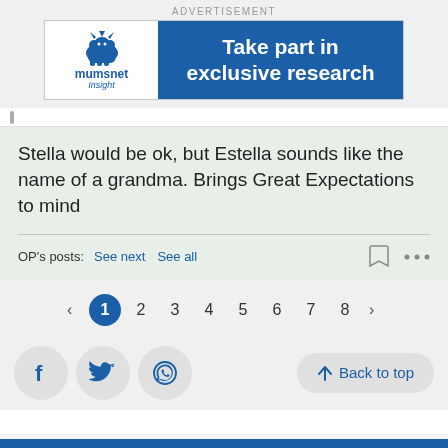ADVERTISEMENT
[Figure (illustration): Mumsnet Insight advertisement banner: white left section with mumsnet logo and 'insight' text, blue right section reading 'Take part in exclusive research']
Stella would be ok, but Estella sounds like the name of a grandma. Brings Great Expectations to mind
OP's posts:  See next  See all
[Figure (infographic): Pagination bar showing pages 1 through 8 with left and right arrows, page 1 highlighted in dark blue circle]
[Figure (infographic): Social share buttons: Facebook, Twitter, WhatsApp icons in grey circles, and a 'Back to top' button on the right]
Active  Watching  Home  I'm on  Search